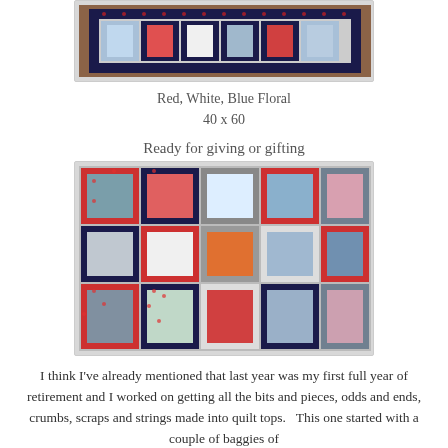[Figure (photo): Top portion of a red, white, and blue floral quilt displayed on a wooden surface, showing patchwork squares in blue, red, and white fabrics with floral borders.]
Red, White, Blue Floral
40 x 60
Ready for giving or gifting
[Figure (photo): Close-up of a patchwork quilt with red, blue, gray, white, orange, and pink squares arranged in a block pattern, framed by a dark navy floral border fabric.]
I think I’ve already mentioned that last year was my first full year of retirement and I worked on getting all the bits and pieces, odds and ends, crumbs, scraps and strings made into quilt tops.   This one started with a couple of baggies of